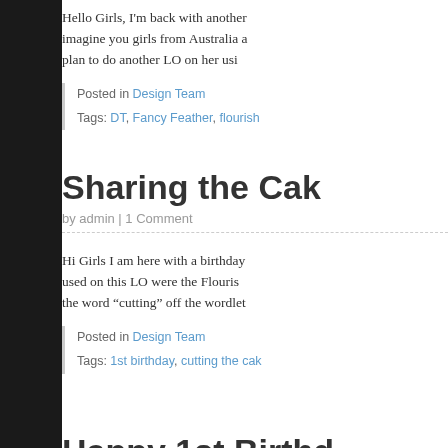Hello Girls, I'm back with another imagine you girls from Australia a plan to do another LO on her usi
Posted in Design Team
Tags: DT, Fancy Feather, flourish
Sharing the Cak
by admin | 1 Comment
Hi Girls I am here with a birthday used on this LO were the Flouris the word “cutting” off the wordlet
Posted in Design Team
Tags: 1st birthday, cutting the cak
Happy 1st Birthd